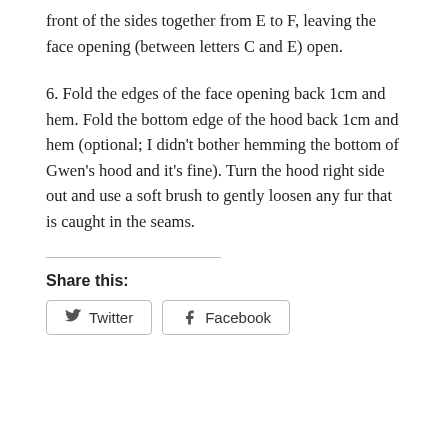front of the sides together from E to F, leaving the face opening (between letters C and E) open.
6. Fold the edges of the face opening back 1cm and hem. Fold the bottom edge of the hood back 1cm and hem (optional; I didn't bother hemming the bottom of Gwen's hood and it's fine). Turn the hood right side out and use a soft brush to gently loosen any fur that is caught in the seams.
Share this:
Twitter   Facebook